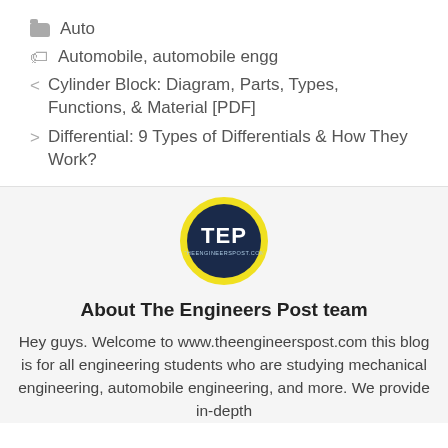Auto
Automobile, automobile engg
< Cylinder Block: Diagram, Parts, Types, Functions, & Material [PDF]
> Differential: 9 Types of Differentials & How They Work?
[Figure (logo): The Engineers Post circular logo with yellow border, dark navy background, white TEP text, and THEENGINEERSPOST.COM text below]
About The Engineers Post team
Hey guys. Welcome to www.theengineerspost.com this blog is for all engineering students who are studying mechanical engineering, automobile engineering, and more. We provide in-depth